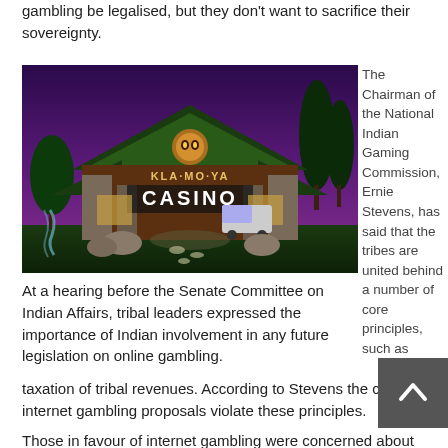gambling be legalised, but they don't want to sacrifice their sovereignty.
[Figure (photo): Exterior photo of Kla-Mo-Ya Casino at dusk/night, showing wooden lodge-style building with illuminated sign reading CASINO, purple sky backdrop with trees.]
The Chairman of the National Indian Gaming Commission, Ernie Stevens, has said that the tribes are united behind a number of core principles, such as taxation of tribal revenues. According to Stevens the current internet gambling proposals violate these principles.
At a hearing before the Senate Committee on Indian Affairs, tribal leaders expressed the importance of Indian involvement in any future legislation on online gambling.
taxation of tribal revenues. According to Stevens the current internet gambling proposals violate these principles.
Those in favour of internet gambling were concerned about